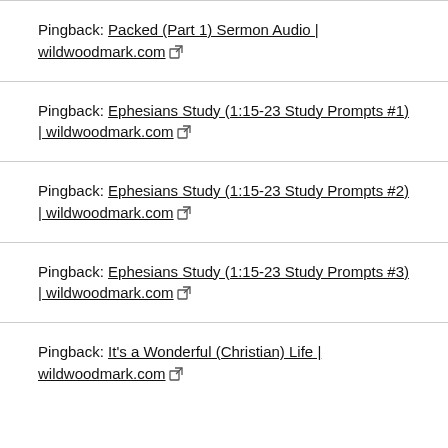Pingback: Packed (Part 1) Sermon Audio | wildwoodmark.com
Pingback: Ephesians Study (1:15-23 Study Prompts #1) | wildwoodmark.com
Pingback: Ephesians Study (1:15-23 Study Prompts #2) | wildwoodmark.com
Pingback: Ephesians Study (1:15-23 Study Prompts #3) | wildwoodmark.com
Pingback: It's a Wonderful (Christian) Life | wildwoodmark.com